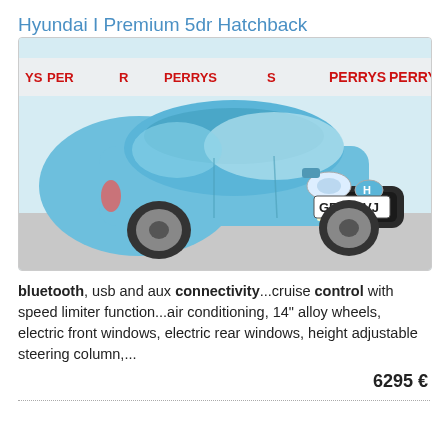Hyundai I Premium 5dr Hatchback
[Figure (photo): Light blue Hyundai i10 Premium 5-door hatchback car photographed in front of a Perrys dealership backdrop, registration plate GF64 FVJ]
bluetooth, usb and aux connectivity...cruise control with speed limiter function...air conditioning, 14" alloy wheels, electric front windows, electric rear windows, height adjustable steering column,...
6295 €